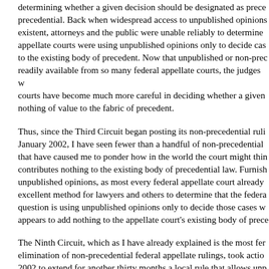that federal appellate court is not in the most disciplined way for determining whether a given decision should be designated as precedential. Back when widespread access to unpublished opinions existent, attorneys and the public were unable reliably to determine appellate courts were using unpublished opinions only to decide cases to the existing body of precedent. Now that unpublished or non-precedential readily available from so many federal appellate courts, the judges courts have become much more careful in deciding whether a given nothing of value to the fabric of precedent.
Thus, since the Third Circuit began posting its non-precedential rulings January 2002, I have seen fewer than a handful of non-precedential that have caused me to ponder how in the world the court might think contributes nothing to the existing body of precedential law. Furnishing unpublished opinions, as most every federal appellate court already excellent method for lawyers and others to determine that the federal question is using unpublished opinions only to decide those cases where appears to add nothing to the appellate court's existing body of precedent.
The Ninth Circuit, which as I have already explained is the most fervent elimination of non-precedential federal appellate rulings, took action in 2002 to extend for another thirty months a local rule that allows unpublished be cited to that court as a basis for granting rehearing en banc. The N allowing this extraordinarily limited use of unpublished opinions dumbfounded.